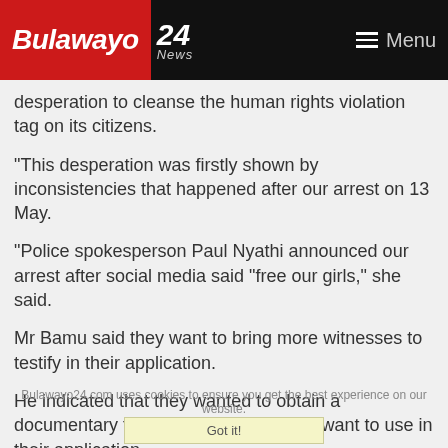Bulawayo 24 News — Menu
desperation to cleanse the human rights violation tag on its citizens.
"This desperation was firstly shown by inconsistencies that happened after our arrest on 13 May.
"Police spokesperson Paul Nyathi announced our arrest after social media said "free our girls," she said.
Mr Bamu said they want to bring more witnesses to testify in their application.
He indicated that they wanted to obtain a documentary from ZBCTV, which they want to use in their application.
The matter continues tomorrow.
Bulawayo24.com uses cookies to ensure you get the best experience on our website.
Got it!